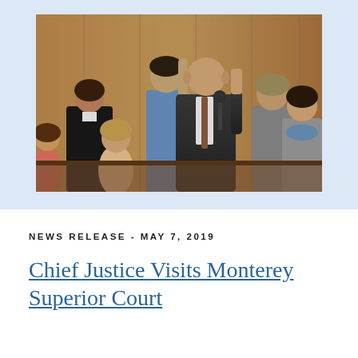[Figure (photo): A courtroom swearing-in ceremony. A bald man in a dark suit with a tie raises his right hand while facing a judge in black robes. Several people stand behind him, including a young man in a blue shirt, a woman in a pink top, a man in a gray suit on the right, and a woman with a blue scarf. The background is wooden paneling.]
NEWS RELEASE - MAY 7, 2019
Chief Justice Visits Monterey Superior Court